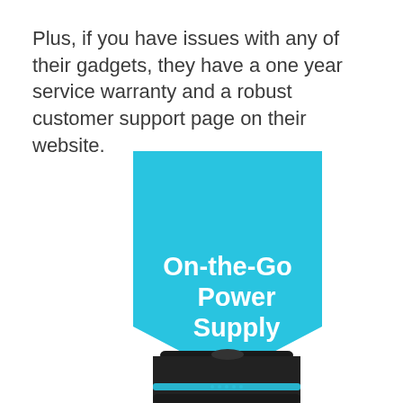Plus, if you have issues with any of their gadgets, they have a one year service warranty and a robust customer support page on their website.
[Figure (illustration): A cyan/sky-blue banner shape with a pointed bottom-right corner containing bold white text 'On-the-Go Power Supply', with a black cylindrical portable power bank device partially visible at the bottom, featuring a cyan LED indicator stripe around its middle.]